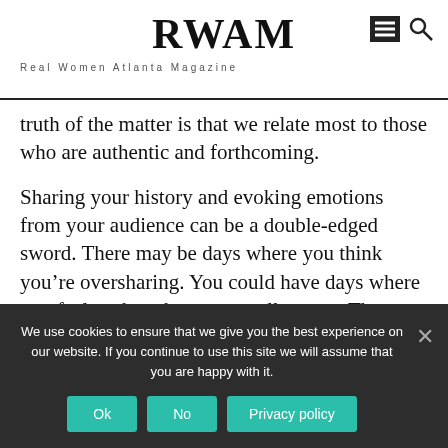RWAM Real Women Atlanta Magazine
truth of the matter is that we relate most to those who are authentic and forthcoming.

Sharing your history and evoking emotions from your audience can be a double-edged sword. There may be days where you think you’re oversharing. You could have days where you feel as though no one really cares. These are normal emotions and valid feelings. The important thing to remember is that not everyone is vocal. Not everyone will comment and let you know how you’ve changed
We use cookies to ensure that we give you the best experience on our website. If you continue to use this site we will assume that you are happy with it.